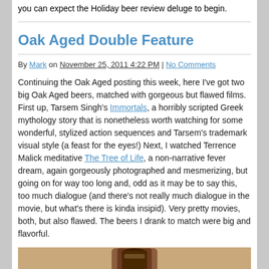you can expect the Holiday beer review deluge to begin.
Oak Aged Double Feature
By Mark on November 25, 2011 4:22 PM | No Comments
Continuing the Oak Aged posting this week, here I've got two big Oak Aged beers, matched with gorgeous but flawed films. First up, Tarsem Singh's Immortals, a horribly scripted Greek mythology story that is nonetheless worth watching for some wonderful, stylized action sequences and Tarsem's trademark visual style (a feast for the eyes!) Next, I watched Terrence Malick meditative The Tree of Life, a non-narrative fever dream, again gorgeously photographed and mesmerizing, but going on for way too long and, odd as it may be to say this, too much dialogue (and there's not really much dialogue in the movie, but what's there is kinda insipid). Very pretty movies, both, but also flawed. The beers I drank to match were big and flavorful.
[Figure (photo): Bottom of page photo showing a beer bottle on a light brown/tan background, cropped showing just the base of a dark brown bottle]